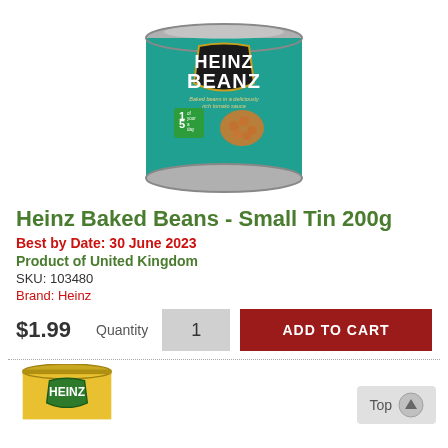[Figure (photo): Heinz Baked Beans small tin product photo — teal/turquoise can with black shield logo reading HEINZ BEANZ, baked beans in a deliciously rich tomato sauce, 1 of your 5 a day green badge]
Heinz Baked Beans - Small Tin 200g
Best by Date: 30 June 2023
Product of United Kingdom
SKU: 103480
Brand: Heinz
$1.99  Quantity  1  ADD TO CART
[Figure (photo): Partial bottom view of another Heinz tin (yellow label with green Heinz shield logo)]
Top